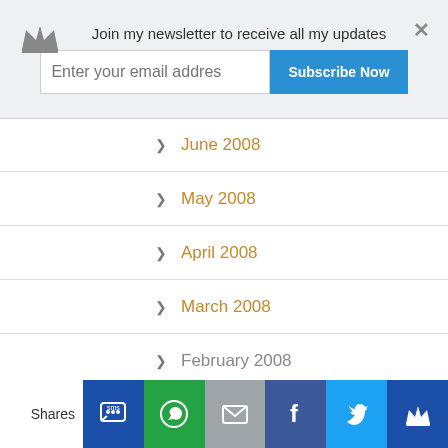[Figure (screenshot): Newsletter subscription banner with crown logo, email input field, Subscribe Now button, and close X button]
June 2008
May 2008
April 2008
March 2008
February 2008
January 2008
December 2007
November 2007
October 2007
September 2007
Shares | SMS | WhatsApp | Email | Facebook | Twitter | Crown